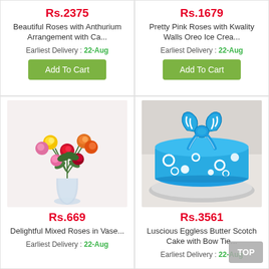Rs.2375
Beautiful Roses with Anthurium Arrangement with Ca...
Earliest Delivery : 22-Aug
Add To Cart
Rs.1679
Pretty Pink Roses with Kwality Walls Oreo Ice Crea...
Earliest Delivery : 22-Aug
Add To Cart
[Figure (photo): Colorful mixed roses bouquet in a glass vase with red, yellow, orange and pink roses]
Rs.669
Delightful Mixed Roses in Vase...
Earliest Delivery : 22-Aug
[Figure (photo): Blue fondant cake with white circle decorations and a blue and white bow tie on top, placed on a plate]
Rs.3561
Luscious Eggless Butter Scotch Cake with Bow Tie...
Earliest Delivery : 22-Aug